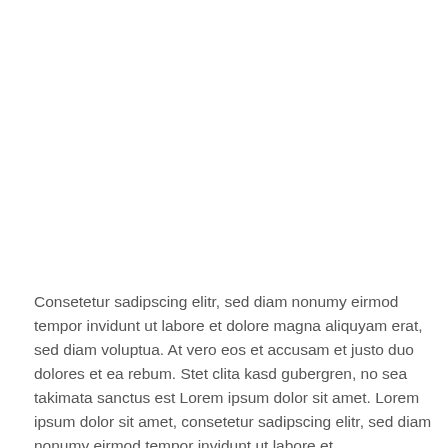Consetetur sadipscing elitr, sed diam nonumy eirmod tempor invidunt ut labore et dolore magna aliquyam erat, sed diam voluptua. At vero eos et accusam et justo duo dolores et ea rebum. Stet clita kasd gubergren, no sea takimata sanctus est Lorem ipsum dolor sit amet. Lorem ipsum dolor sit amet, consetetur sadipscing elitr, sed diam nonumy eirmod tempor invidunt ut labore et